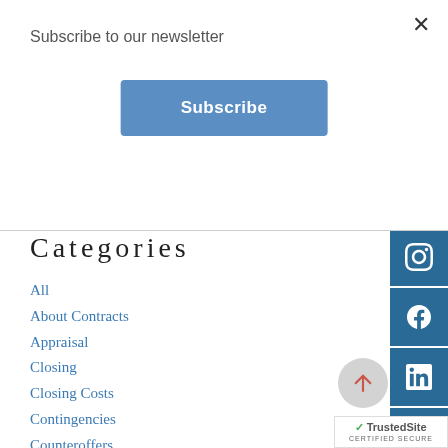Subscribe to our newsletter
Subscribe
North Atlanta area. Iveth Caruso REALTOR®
Categories
All
About Contracts
Appraisal
Closing
Closing Costs
Contingencies
Counteroffers
Credit Score
Credit Scores
Down Payment
[Figure (other): Social media sidebar icons: Instagram, Facebook, LinkedIn, Email]
[Figure (other): TrustedSite certified secure badge with scroll-to-top button]